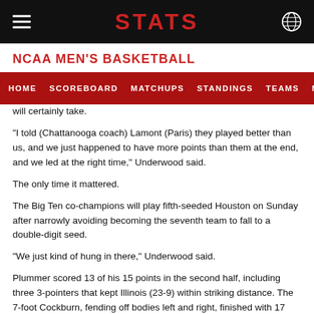STATS
NCAA MEN'S BASKETBALL
HOME  SCOREBOARD  MATCHUPS  STANDINGS  TEAMS  MORE...
will certainly take.
"I told (Chattanooga coach) Lamont (Paris) they played better than us, and we just happened to have more points than them at the end, and we led at the right time," Underwood said.
The only time it mattered.
The Big Ten co-champions will play fifth-seeded Houston on Sunday after narrowly avoiding becoming the seventh team to fall to a double-digit seed.
"We just kind of hung in there," Underwood said.
Plummer scored 13 of his 15 points in the second half, including three 3-pointers that kept Illinois (23-9) within striking distance. The 7-foot Cockburn, fending off bodies left and right, finished with 17 points and 13 rebounds while absorbing 11 fouls. His putback with 45 seconds left gave the Illini the first of just two leads they held all night.
"It wasn't frustrating," Cockburn said. "I've been going through that all year.